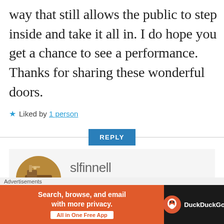way that still allows the public to step inside and take it all in. I do hope you get a chance to see a performance. Thanks for sharing these wonderful doors.
★ Liked by 1 person
REPLY
slfinnell
MARCH 4, 2021 AT 4:35 PM
Th...
[Figure (other): Advertisement banner for DuckDuckGo: Search, browse, and email with more privacy. All in One Free App.]